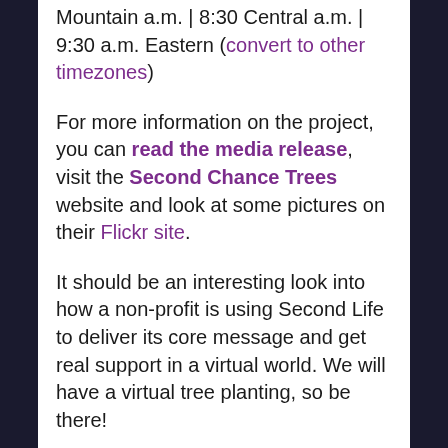Mountain a.m. | 8:30 Central a.m. | 9:30 a.m. Eastern (convert to other timezones)
For more information on the project, you can read the media release, visit the Second Chance Trees website and look at some pictures on their Flickr site.
It should be an interesting look into how a non-profit is using Second Life to deliver its core message and get real support in a virtual world. We will have a virtual tree planting, so be there!
Update: Paull Young has posted a full transcript of the event at his blog, JimmyJet Fossett has posted a Flickr photo set of the